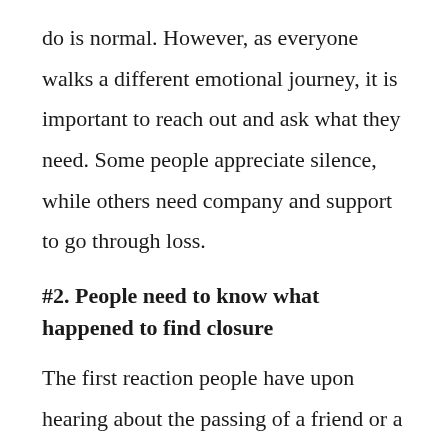do is normal. However, as everyone walks a different emotional journey, it is important to reach out and ask what they need. Some people appreciate silence, while others need company and support to go through loss.
#2. People need to know what happened to find closure
The first reaction people have upon hearing about the passing of a friend or a relative is to ask what happened. It is in human nature to make sense of an unexpected situation. When